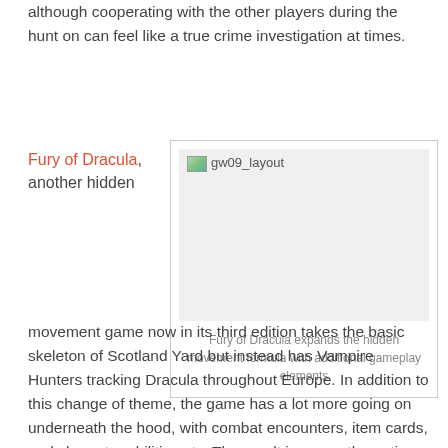although cooperating with the other players during the hunt on can feel like a true crime investigation at times.
Fury of Dracula, another hidden
[Figure (photo): Image placeholder showing 'gw09_layout' label with caption: Fury of Dracula expands the hidden movement formula with additional gameplay elements]
Fury of Dracula expands the hidden movement formula with additional gameplay elements
movement game now in its third edition takes the basic skeleton of Scotland Yard but instead has Vampire Hunters tracking Dracula throughout Europe. In addition to this change of theme, the game has a lot more going on underneath the hood, with combat encounters, item cards, and character abilities etc. The result is a very thematic game that